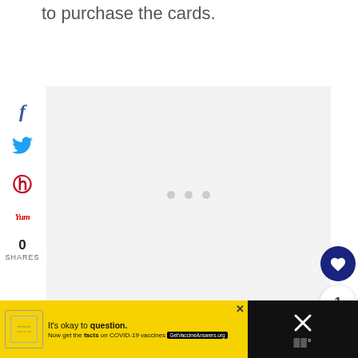to purchase the cards.
[Figure (screenshot): Gray content placeholder area with three dots indicating loading or empty ad/media content]
[Figure (infographic): Social share sidebar with Facebook, Twitter, Pinterest, Yummly icons and 0 SHARES count]
[Figure (infographic): Heart/like button (dark navy circle with heart icon), count badge showing 1, and share button]
[Figure (screenshot): Advertisement banner: yellow background with stamp logo, text 'It’s okay to question. Now get the facts on COVID-19 vaccines GetVaccineAnswers.org', close X button, and dark right panel with X and bars icons]